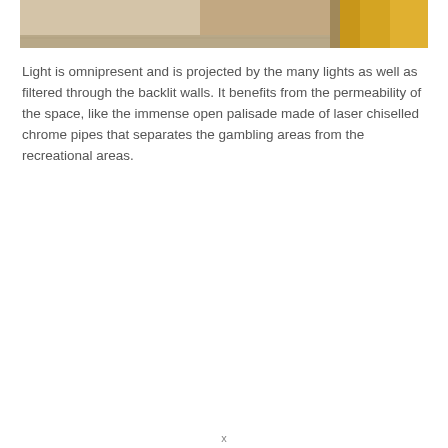[Figure (photo): Interior photograph showing a room with warm beige/tan walls and a golden yellow cylindrical column or element on the right side. The image is cropped at the top of the page showing approximately the upper portion of the space.]
Light is omnipresent and is projected by the many lights as well as filtered through the backlit walls. It benefits from the permeability of the space, like the immense open palisade made of laser chiselled chrome pipes that separates the gambling areas from the recreational areas.
x